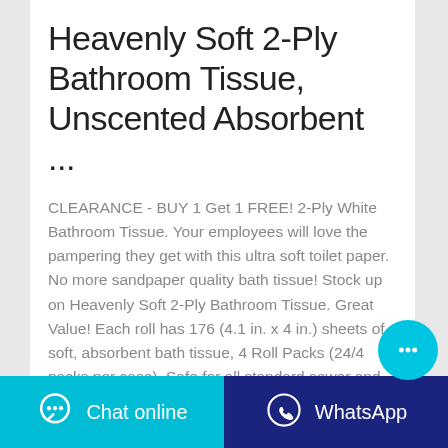Heavenly Soft 2-Ply Bathroom Tissue, Unscented Absorbent ...
CLEARANCE - BUY 1 Get 1 FREE! 2-Ply White Bathroom Tissue. Your employees will love the pampering they get with this ultra soft toilet paper. No more sandpaper quality bath tissue! Stock up on Heavenly Soft 2-Ply Bathroom Tissue. Great Value! Each roll has 176 (4.1 in. x 4 in.) sheets of soft, absorbent bath tissue, 4 Roll Packs (24/4 packs per case), Safe for all standard sewer and septic ...
[Figure (other): Cyan circular chat bubble button with ellipsis icon]
CONTACT THE MANUFACTURER
WHATSAPP
Chat online
WhatsApp